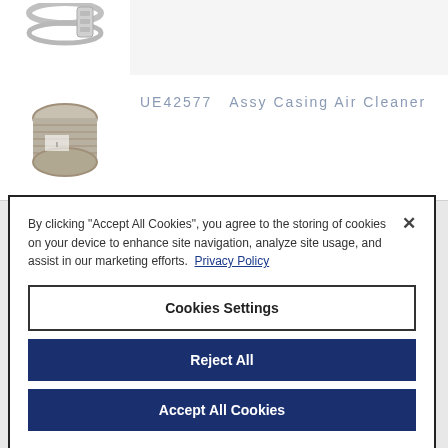[Figure (photo): Partial view of a metal hose clamp/clip ring, top cropped]
[Figure (photo): Cylindrical grey air cleaner casing part (filter element)]
UE42577   Assy Casing Air Cleaner
By clicking "Accept All Cookies", you agree to the storing of cookies on your device to enhance site navigation, analyze site usage, and assist in our marketing efforts.  Privacy Policy
Cookies Settings
Reject All
Accept All Cookies